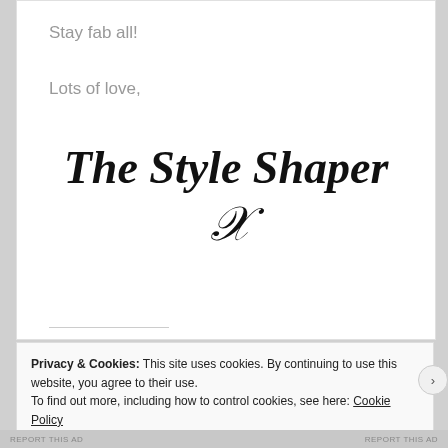Stay fab all!
Lots of love,
The Style Shaper
X
Privacy & Cookies: This site uses cookies. By continuing to use this website, you agree to their use.
To find out more, including how to control cookies, see here: Cookie Policy
Close and accept